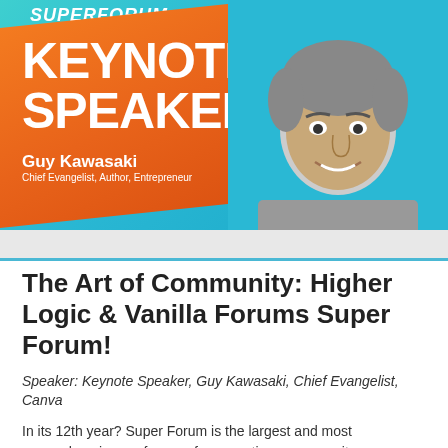[Figure (illustration): Super Forum keynote speaker banner featuring Guy Kawasaki. Teal/cyan gradient background with orange diagonal stripe. Large white text 'KEYNOTE SPEAKER'. Speaker name 'Guy Kawasaki' and title 'Chief Evangelist, Author, Entrepreneur'. Black and white photo of Guy Kawasaki on the right.]
The Art of Community: Higher Logic & Vanilla Forums Super Forum!
Speaker: Keynote Speaker, Guy Kawasaki, Chief Evangelist, Canva
In its 12th year? Super Forum is the largest and most comprehensive conference for executives, community managers, marketing, membership, and customer success